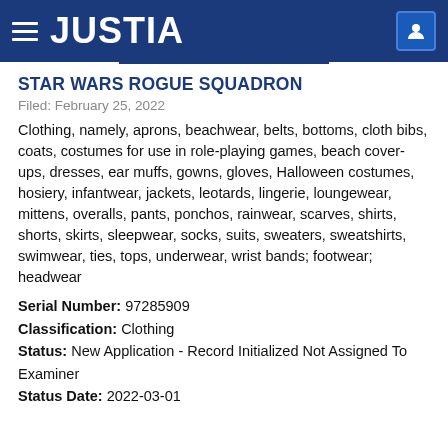JUSTIA
STAR WARS ROGUE SQUADRON
Filed: February 25, 2022
Clothing, namely, aprons, beachwear, belts, bottoms, cloth bibs, coats, costumes for use in role-playing games, beach cover-ups, dresses, ear muffs, gowns, gloves, Halloween costumes, hosiery, infantwear, jackets, leotards, lingerie, loungewear, mittens, overalls, pants, ponchos, rainwear, scarves, shirts, shorts, skirts, sleepwear, socks, suits, sweaters, sweatshirts, swimwear, ties, tops, underwear, wrist bands; footwear; headwear
Serial Number: 97285909
Classification: Clothing
Status: New Application - Record Initialized Not Assigned To Examiner
Status Date: 2022-03-01